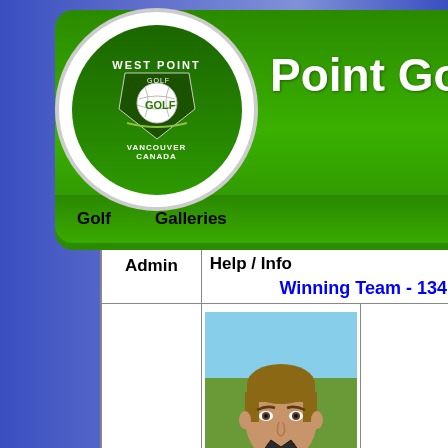[Figure (logo): West Point Golf Club circular logo with green background, shield emblem and golf ball, white text]
Point Golf Club
Golf   Galleries
| Admin | Help / Info |  |
| --- | --- | --- |
|  | Winning Team - 134 |  |
|  | [photo of man - Bruce Kennedy] |  |
| Angel Trophy | Bruce Kennedy | Garry Wats |